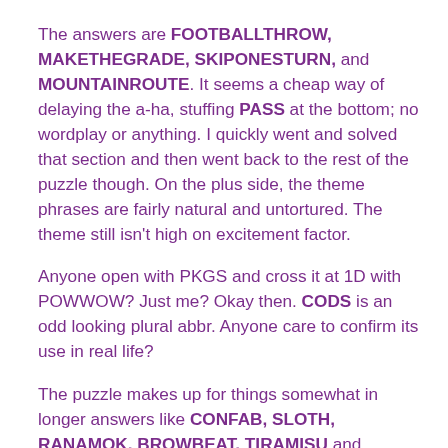The answers are FOOTBALLTHROW, MAKETHEGRADE, SKIPONESTURN, and MOUNTAINROUTE. It seems a cheap way of delaying the a-ha, stuffing PASS at the bottom; no wordplay or anything. I quickly went and solved that section and then went back to the rest of the puzzle though. On the plus side, the theme phrases are fairly natural and untortured. The theme still isn't high on excitement factor.
Anyone open with PKGS and cross it at 1D with POWWOW? Just me? Okay then. CODS is an odd looking plural abbr. Anyone care to confirm its use in real life?
The puzzle makes up for things somewhat in longer answers like CONFAB, SLOTH, RANAMOK, BROWBEAT, TIRAMISU and NUANCES. They're mostly one word, but still nice vocabulary answers.